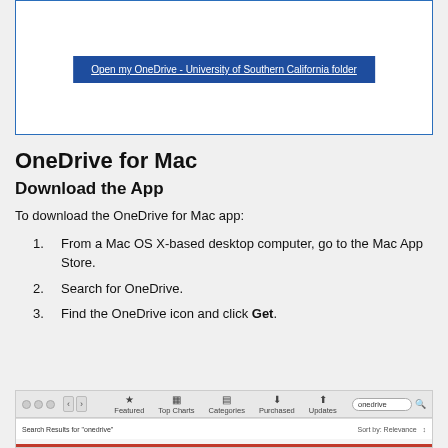[Figure (screenshot): Screenshot showing a button labeled 'Open my OneDrive - University of Southern California folder' on a white background with blue border]
OneDrive for Mac
Download the App
To download the OneDrive for Mac app:
From a Mac OS X-based desktop computer, go to the Mac App Store.
Search for OneDrive.
Find the OneDrive icon and click Get.
[Figure (screenshot): Screenshot of the Mac App Store showing the top navigation bar with Featured, Top Charts, Categories, Purchased, Updates tabs and a search box with 'onedrive' typed in, and search results bar showing 'Search Results for onedrive' with Sort by: Relevance]